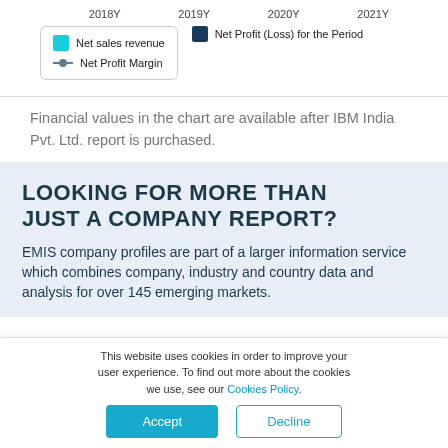[Figure (other): Chart top area showing year axis labels 2018Y, 2019Y, 2020Y, 2021Y and legend for Net sales revenue, Net Profit (Loss) for the Period, Net Profit Margin]
Financial values in the chart are available after IBM India Pvt. Ltd. report is purchased.
LOOKING FOR MORE THAN JUST A COMPANY REPORT?
EMIS company profiles are part of a larger information service which combines company, industry and country data and analysis for over 145 emerging markets.
This website uses cookies in order to improve your user experience. To find out more about the cookies we use, see our Cookies Policy.